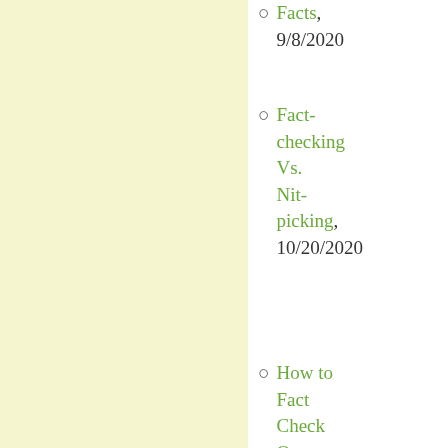Facts, 9/8/2020
Fact-checking Vs. Nit-picking, 10/20/2020
How to Fact Check Quotes, Part 1: Four Types of Misleading Quote, 11/27/2020
How to Fact Check Quotes,